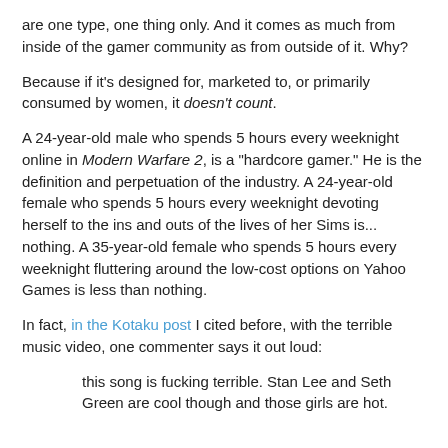are one type, one thing only.  And it comes as much from inside of the gamer community as from outside of it.  Why?
Because if it's designed for, marketed to, or primarily consumed by women, it doesn't count.
A 24-year-old male who spends 5 hours every weeknight online in Modern Warfare 2, is a "hardcore gamer."  He is the definition and perpetuation of the industry.  A 24-year-old female who spends 5 hours every weeknight devoting herself to the ins and outs of the lives of her Sims is... nothing.  A 35-year-old female who spends 5 hours every weeknight fluttering around the low-cost options on Yahoo Games is less than nothing.
In fact, in the Kotaku post I cited before, with the terrible music video, one commenter says it out loud:
this song is fucking terrible. Stan Lee and Seth Green are cool though and those girls are hot.